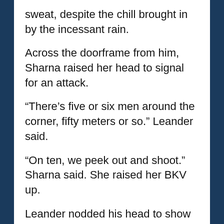sweat, despite the chill brought in by the incessant rain.
Across the doorframe from him, Sharna raised her head to signal for an attack.
“There’s five or six men around the corner, fifty meters or so.” Leander said.
“On ten, we peek out and shoot.” Sharna said. She raised her BKV up.
Leander nodded his head to show that he understood. Sharna nodded back, and she began to count up to ten, and as she counted the two of them crept toward the